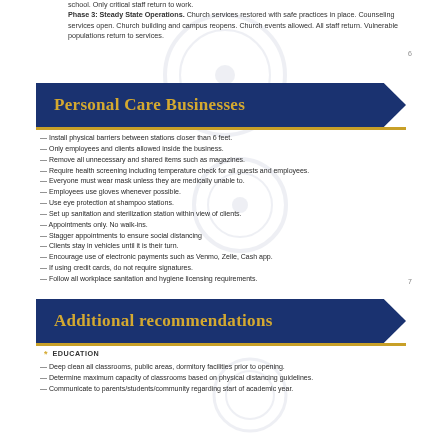school. Only critical staff return to work. Phase 3: Steady State Operations. Church services restored with safe practices in place. Counseling services open. Church building and campus reopens. Church events allowed. All staff return. Vulnerable populations return to services.
6
Personal Care Businesses
— Install physical barriers between stations closer than 6 feet.
— Only employees and clients allowed inside the business.
— Remove all unnecessary and shared items such as magazines.
— Require health screening including temperature check for all guests and employees.
— Everyone must wear mask unless they are medically unable to.
— Employees use gloves whenever possible.
— Use eye protection at shampoo stations.
— Set up sanitation and sterilization station within view of clients.
— Appointments only. No walk-ins.
— Stagger appointments to ensure social distancing
— Clients stay in vehicles until it is their turn.
— Encourage use of electronic payments such as Venmo, Zelle, Cash app.
— If using credit cards, do not require signatures.
— Follow all workplace sanitation and hygiene licensing requirements.
7
Additional recommendations
EDUCATION
— Deep clean all classrooms, public areas, dormitory facilities prior to opening.
— Determine maximum capacity of classrooms based on physical distancing guidelines.
— Communicate to parents/students/community regarding start of academic year.